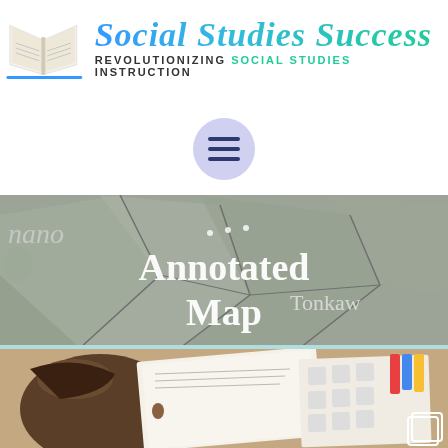[Figure (logo): Social Studies Success logo with open book illustration and stylized script text reading 'Social Studies Success' with tagline 'REVOLUTIONIZING SOCIAL STUDIES INSTRUCTION']
[Figure (other): Hamburger menu icon inside a light purple circle]
[Figure (photo): Annotated Map - photo showing a physical map with region names including 'nano' on the left and 'Tonkaw' on the right, with white text overlay reading 'Annotated Map']
[Figure (photo): Bottom photo showing a student reading a book with illustrated worksheets visible]